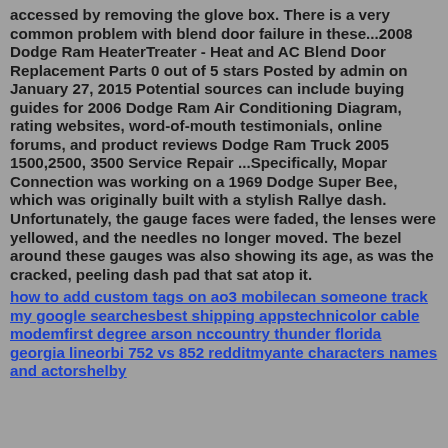accessed by removing the glove box. There is a very common problem with blend door failure in these...2008 Dodge Ram HeaterTreater - Heat and AC Blend Door Replacement Parts 0 out of 5 stars Posted by admin on January 27, 2015 Potential sources can include buying guides for 2006 Dodge Ram Air Conditioning Diagram, rating websites, word-of-mouth testimonials, online forums, and product reviews Dodge Ram Truck 2005 1500,2500, 3500 Service Repair ...Specifically, Mopar Connection was working on a 1969 Dodge Super Bee, which was originally built with a stylish Rallye dash. Unfortunately, the gauge faces were faded, the lenses were yellowed, and the needles no longer moved. The bezel around these gauges was also showing its age, as was the cracked, peeling dash pad that sat atop it.
how to add custom tags on ao3 mobilecan someone track my google searchesbest shipping appstechnicolor cable modemfirst degree arson nccountry thunder florida georgia lineorbi 752 vs 852 redditmyante characters names and actorshelby